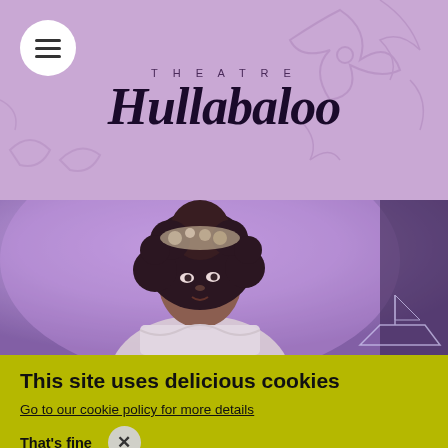[Figure (logo): Theatre Hullabaloo logo on purple/lavender background with decorative pattern. White circle menu button with three horizontal lines (hamburger icon) in top left. Text 'THEATRE' in small spaced caps above large stylized italic 'Hullabaloo' wordmark.]
[Figure (photo): A woman with curly hair and a floral headpiece wearing a white lace top, lit with purple/lavender lighting, looking to the side. A partial view of a sailing ship decoration is visible in the lower right.]
This site uses delicious cookies
Go to our cookie policy for more details
That's fine
×